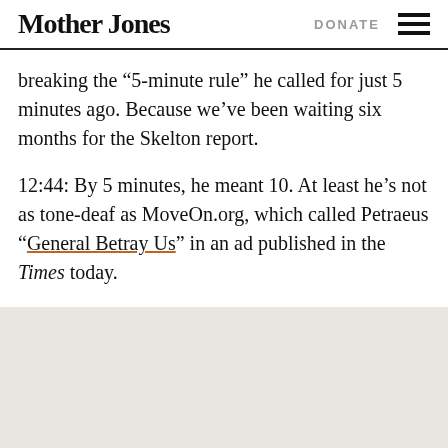Mother Jones | DONATE
breaking the “5-minute rule” he called for just 5 minutes ago. Because we’ve been waiting six months for the Skelton report.
12:44: By 5 minutes, he meant 10. At least he’s not as tone-deaf as MoveOn.org, which called Petraeus “General Betray Us” in an ad published in the Times today.